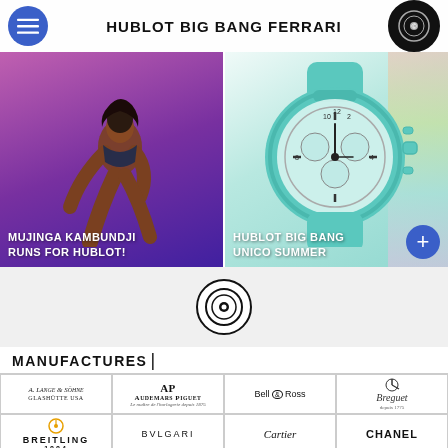HUBLOT BIG BANG FERRARI
[Figure (photo): Mujinga Kambundji athlete in sprint start position on purple background]
MUJINGA KAMBUNDJI RUNS FOR HUBLOT!
[Figure (photo): Hublot Big Bang Unico Summer teal/mint colored watch on pastel background]
HUBLOT BIG BANG UNICO SUMMER
[Figure (logo): Central circular logo icon]
MANUFACTURES |
[Figure (logo): A. Lange & Söhne - Glashütte USA logo]
[Figure (logo): Audemars Piguet logo]
[Figure (logo): Bell & Ross logo]
[Figure (logo): Breguet logo]
[Figure (logo): Breitling 1884 logo]
[Figure (logo): Bvlgari logo]
[Figure (logo): Cartier logo]
[Figure (logo): Chanel logo]
[Figure (logo): Dior logo (partial)]
[Figure (logo): Girard-Perregaux logo]
[Figure (logo): H logo (Hublot or similar)]
[Figure (logo): IWC logo (partial)]